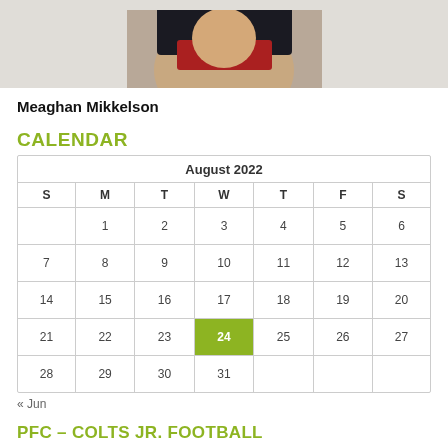[Figure (photo): Partial photo of a person (Meaghan Mikkelson), cropped to show upper portion]
Meaghan Mikkelson
CALENDAR
| S | M | T | W | T | F | S |
| --- | --- | --- | --- | --- | --- | --- |
|  | 1 | 2 | 3 | 4 | 5 | 6 |
| 7 | 8 | 9 | 10 | 11 | 12 | 13 |
| 14 | 15 | 16 | 17 | 18 | 19 | 20 |
| 21 | 22 | 23 | 24 | 25 | 26 | 27 |
| 28 | 29 | 30 | 31 |  |  |  |
« Jun
PFC – COLTS JR. FOOTBALL